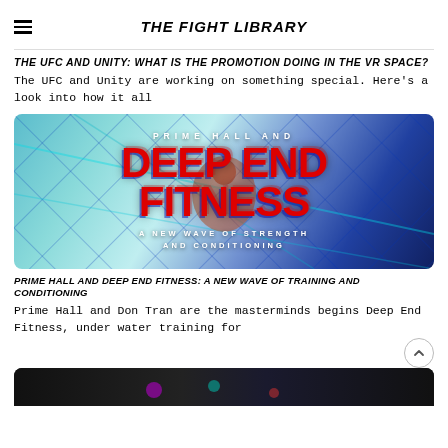THE FIGHT LIBRARY
THE UFC AND UNITY: WHAT IS THE PROMOTION DOING IN THE VR SPACE?
The UFC and Unity are working on something special. Here's a look into how it all
[Figure (photo): Promotional image for Prime Hall and Deep End Fitness showing text overlay on a blue/teal grid background with a running figure. Text reads: PRIME HALL AND / DEEP END FITNESS / A NEW WAVE OF STRENGTH AND CONDITIONING]
PRIME HALL AND DEEP END FITNESS: A NEW WAVE OF TRAINING AND CONDITIONING
Prime Hall and Don Tran are the masterminds begins Deep End Fitness, under water training for
[Figure (photo): Partial dark image at bottom of page, content not fully visible]